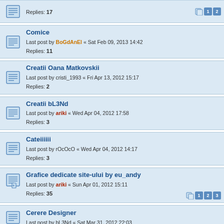Replies: 17
Comice
Last post by BoGdAnEl « Sat Feb 09, 2013 14:42
Replies: 11
Creatii Oana Matkovskii
Last post by cristi_1993 « Fri Apr 13, 2012 15:17
Replies: 2
Creatii bL3Nd
Last post by ariki « Wed Apr 04, 2012 17:58
Replies: 3
Cateiiiiii
Last post by rOcOcO « Wed Apr 04, 2012 14:17
Replies: 3
Grafice dedicate site-ului by eu_andy
Last post by ariki « Sun Apr 01, 2012 15:11
Replies: 35
Cerere Designer
Last post by bL3Nd « Sat Mar 31, 2012 22:03
Cerere Designer
Last post by Oana Matkovskii « Sat Mar 31, 2012 22:01
[IlogicGroup - Creatii] Ale X
Last post by rOcOcO « Fri Mar 09, 2012 09:59
Replies: 1
[Tutorial] Cum facem un obiect 3D
Last post by Andree « Wed Feb 15, 2012 15:48